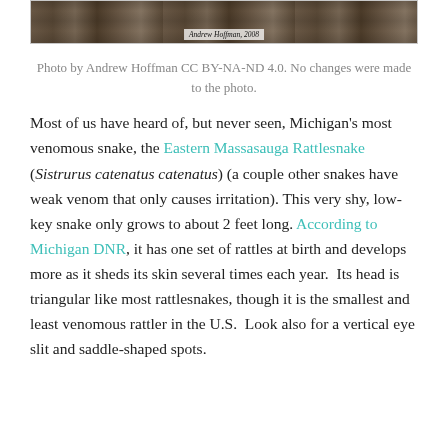[Figure (photo): Partial view of a snake (Eastern Massasauga Rattlesnake) on leaf litter, cropped at top. Photo credit label reads 'Andrew Hoffman, 2008'.]
Photo by Andrew Hoffman CC BY-NA-ND 4.0. No changes were made to the photo.
Most of us have heard of, but never seen, Michigan’s most venomous snake, the Eastern Massasauga Rattlesnake (Sistrurus catenatus catenatus) (a couple other snakes have weak venom that only causes irritation). This very shy, low-key snake only grows to about 2 feet long. According to Michigan DNR, it has one set of rattles at birth and develops more as it sheds its skin several times each year.  Its head is triangular like most rattlesnakes, though it is the smallest and least venomous rattler in the U.S.  Look also for a vertical eye slit and saddle-shaped spots.